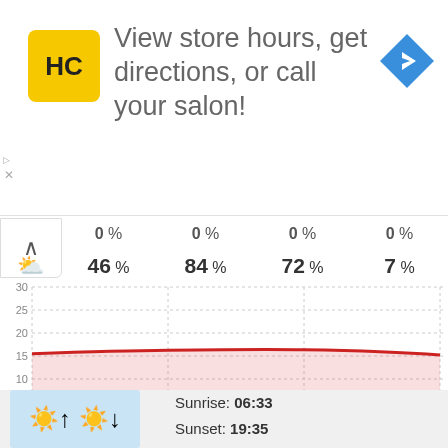[Figure (infographic): Advertisement banner with HC (Haircuttery) logo in yellow square, text 'View store hours, get directions, or call your salon!', and a blue navigation arrow icon on the right]
0 %  0 %  0 %  0 %
46 %  84 %  72 %  7 %
[Figure (area-chart): Red area chart showing relatively flat temperature around 15-16 degrees throughout the day from 02:00 to 20:00. Y-axis shows 0 to 30 in increments of 5.]
[Figure (illustration): Sunrise/sunset weather icon showing sun symbols with up and down arrows on light blue background]
Sunrise: 06:33
Sunset: 19:35